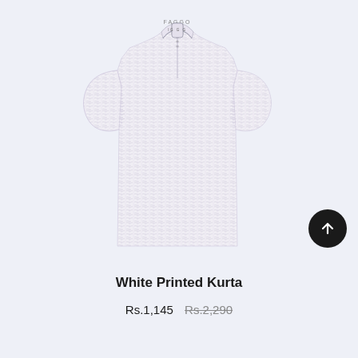[Figure (photo): A white printed kurta (traditional South Asian shirt) with a mandarin collar, three-quarter sleeves, a short button placket at the neck, and an all-over small geometric/print pattern. Displayed on an invisible mannequin against a light lavender-blue background. A small brand logo is visible at the collar.]
White Printed Kurta
Rs.1,145  Rs.2,290